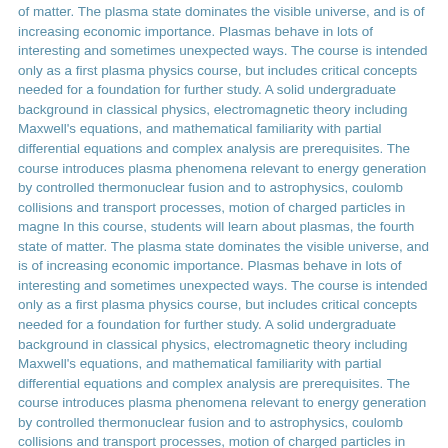of matter. The plasma state dominates the visible universe, and is of increasing economic importance. Plasmas behave in lots of interesting and sometimes unexpected ways. The course is intended only as a first plasma physics course, but includes critical concepts needed for a foundation for further study. A solid undergraduate background in classical physics, electromagnetic theory including Maxwell's equations, and mathematical familiarity with partial differential equations and complex analysis are prerequisites. The course introduces plasma phenomena relevant to energy generation by controlled thermonuclear fusion and to astrophysics, coulomb collisions and transport processes, motion of charged particles in magne In this course, students will learn about plasmas, the fourth state of matter. The plasma state dominates the visible universe, and is of increasing economic importance. Plasmas behave in lots of interesting and sometimes unexpected ways. The course is intended only as a first plasma physics course, but includes critical concepts needed for a foundation for further study. A solid undergraduate background in classical physics, electromagnetic theory including Maxwell's equations, and mathematical familiarity with partial differential equations and complex analysis are prerequisites. The course introduces plasma phenomena relevant to energy generation by controlled thermonuclear fusion and to astrophysics, coulomb collisions and transport processes, motion of charged particles in magne
Subjects
plasma phenomena | plasma phenomena | energy generation | energy generation | controlled thermonuclear fusion | controlled thermonuclear fusion | astrophysics | astrophysics | Coulomb collisions | Coulomb collisions | transport processes | transport